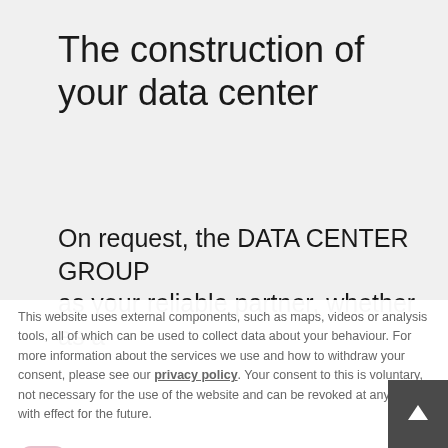The construction of your data center
On request, the DATA CENTER GROUP as your reliable partner, whether as a
This website uses external components, such as maps, videos or analysis tools, all of which can be used to collect data about your behaviour. For more information about the services we use and how to withdraw your consent, please see our privacy policy. Your consent to this is voluntary, not necessary for the use of the website and can be revoked at any time with effect for the future.
Accept analysis
Accept external components
✕ Decline all Cookies
Accept all Cookies